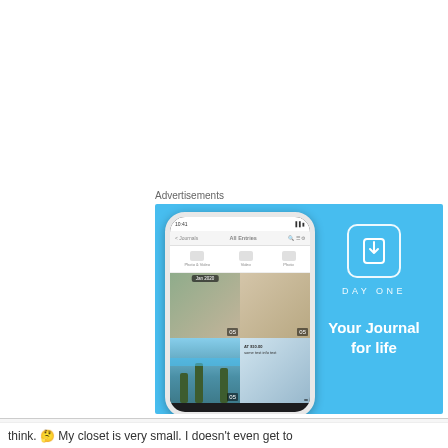Advertisements
[Figure (photo): DayOne app advertisement showing a smartphone with the DayOne journal app interface on a sky blue background. The right side shows the DayOne logo icon (a bookmark/book symbol in a rounded square), the wordmark 'DAY ONE' in spaced letters, and the tagline 'Your Journal for life' in white bold text.]
Privacy & Cookies: This site uses cookies. By continuing to use this website, you agree to their use.
To find out more, including how to control cookies, see here: Cookie Policy
think. 🤔 My closet is very small. I doesn't even get to